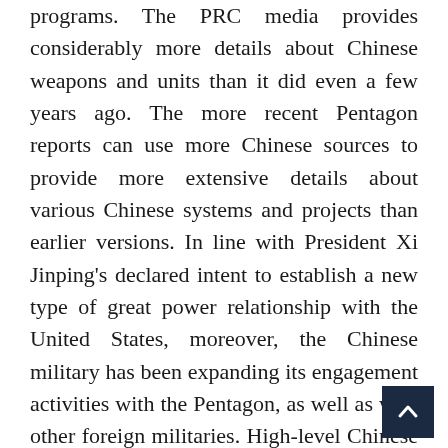programs. The PRC media provides considerably more details about Chinese weapons and units than it did even a few years ago. The more recent Pentagon reports can use more Chinese sources to provide more extensive details about various Chinese systems and projects than earlier versions. In line with President Xi Jinping's declared intent to establish a new type of great power relationship with the United States, moreover, the Chinese military has been expanding its engagement activities with the Pentagon, as well as with other foreign militaries. High-level Chinese and U.S. military exchanges have grown in frequency and extended to new encompass new activities.
But Beijing still provides much less data about